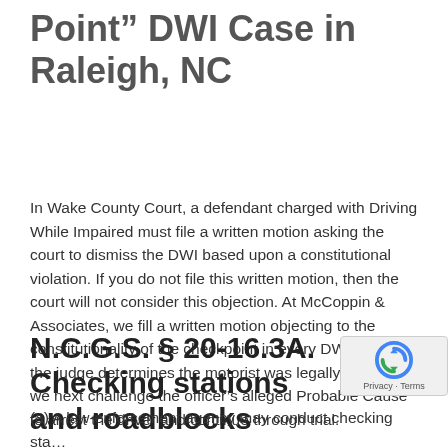Point” DWI Case in Raleigh, NC
In Wake County Court, a defendant charged with Driving While Impaired must file a written motion asking the court to dismiss the DWI based upon a constitutional violation. If you do not file this written motion, then the court will not consider this objection. At McCoppin & Associates, we fill a written motion objecting to the constitutionality of the checkpoint in every DWI case. If the judge determines the motorist was legally stopped, we next challenge the officer’s alleged Probable Cause to arrest the driver and continue through trial.
N.C.G.S. § 20-16.3A. Checking stations and roadblocks
(a) A law-enforcement agency may conduct checking sta… determine compliance with the provisions of this Chapter. If the